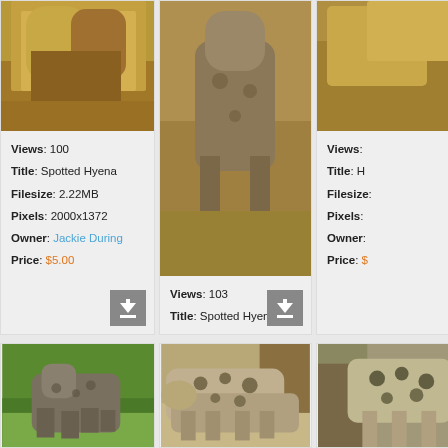[Figure (photo): Close-up photo of a hyena's face and upper body, tan/brown fur, top portion visible]
Views: 100
Title: Spotted Hyena
Filesize: 2.22MB
Pixels: 2000x1372
Owner: Jackie During
Price: $5.00
[Figure (photo): Spotted hyena walking toward camera on dry ground, full body visible]
Views: 103
Title: Spotted Hyena
Filesize: 3.6MB
Pixels: 1732x2592
Owner: Jackie During
Price: $5.00
[Figure (photo): Partial view of hyena photo, right column cropped]
Views: ...
Title: H...
Filesize: ...
Pixels: ...
Owner: ...
Price: $...
[Figure (photo): Young hyena cub walking on green grass]
[Figure (photo): Spotted hyena bending down on rocky ground with tree behind]
[Figure (photo): Partial view of spotted hyena, right column cropped]